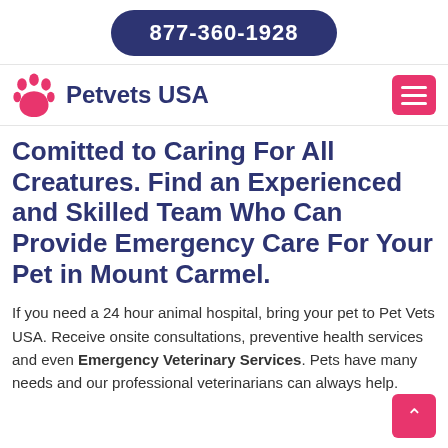877-360-1928
Petvets USA
Comitted to Caring For All Creatures. Find an Experienced and Skilled Team Who Can Provide Emergency Care For Your Pet in Mount Carmel.
If you need a 24 hour animal hospital, bring your pet to Pet Vets USA. Receive onsite consultations, preventive health services and even Emergency Veterinary Services. Pets have many needs and our professional veterinarians can always help.